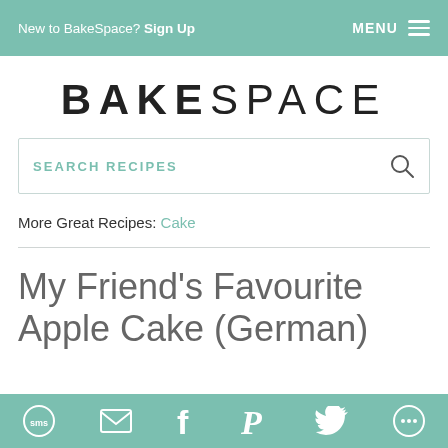New to BakeSpace? Sign Up   MENU
BAKESPACE
SEARCH RECIPES
More Great Recipes: Cake
My Friend's Favourite Apple Cake (German)
SMS | Email | Facebook | Pinterest | Twitter | Share